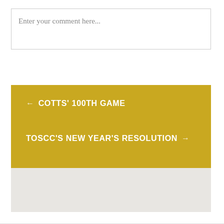Enter your comment here...
← COTTS' 100TH GAME
TOSCC'S NEW YEAR'S RESOLUTION →
[Figure (other): Light gray rectangular placeholder block]